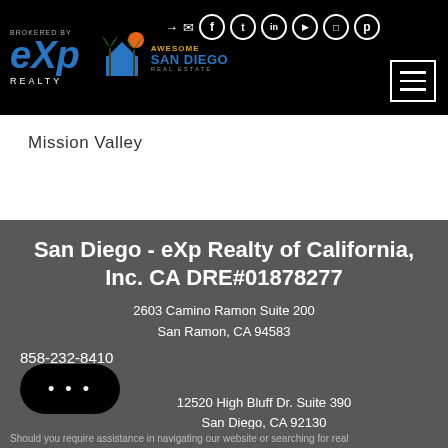[Figure (logo): eXp Realty logo and Awesome San Diego Real Estate logo on black header bar with social media icons and hamburger menu]
Mission Valley
San Diego - eXp Realty of California, Inc. CA DRE#01878277
2603 Camino Ramon Suite 200
San Ramon, CA 94583
858-232-8410
Additional:
12520 High Bluff Dr. Suite 390
San Diego, CA 92130
Should you require assistance in navigating our website or searching for real